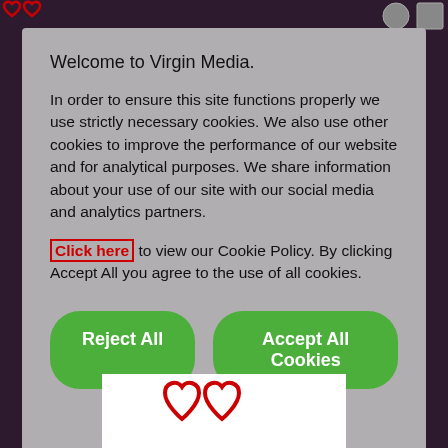Welcome to Virgin Media.
In order to ensure this site functions properly we use strictly necessary cookies. We also use other cookies to improve the performance of our website and for analytical purposes. We share information about your use of our site with our social media and analytics partners.
Click here to view our Cookie Policy. By clicking Accept All you agree to the use of all cookies.
Reject All
Accept All Cookies
Manage Cookies
[Figure (logo): Virgin Media heart logo in red at bottom of page]